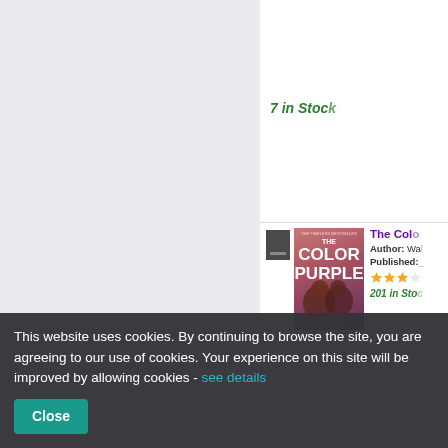7 in Stock
[Figure (illustration): Book listing item: The Color Purple by Alice Walker. Shows book cover thumbnail (pink/red cover with figures), book icon, checkbox, title in purple, author, published date, star rating (3 stars), and '201 in Stock' in green.]
[Figure (illustration): Partial book listing item: The Shining. Shows book cover thumbnail (green/teal), book icon, and partial title and author text.]
This website uses cookies. By continuing to browse the site, you are agreeing to our use of cookies. Your experience on this site will be improved by allowing cookies - see details
Close